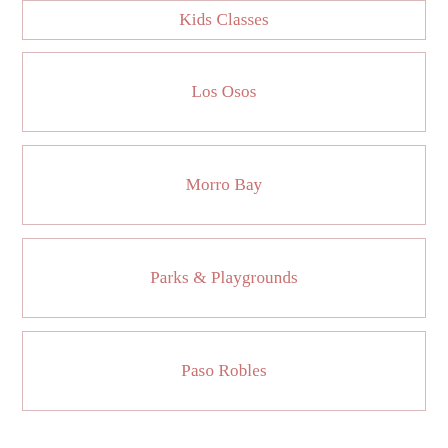Kids Classes
Los Osos
Morro Bay
Parks & Playgrounds
Paso Robles
Pismo Beach
Places to Play
Point Ruston
Reviews